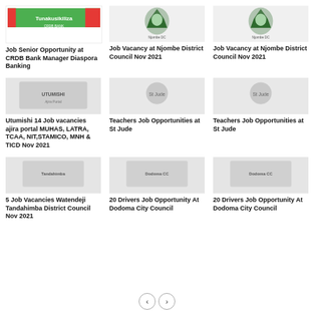[Figure (illustration): CRDB Bank Tunakusikiliza branded image with green and red colors]
Job Senior Opportunity at CRDB Bank Manager Diaspora Banking
[Figure (illustration): Njombe District Council image with coat of arms]
Job Vacancy at Njombe District Council Nov 2021
[Figure (illustration): Njombe District Council image with coat of arms]
Job Vacancy at Njombe District Council Nov 2021
[Figure (illustration): Utumishi job vacancies image]
Utumishi 14 Job vacancies ajira portal MUHAS, LATRA, TCAA, NIT,STAMICO, MNH & TICD Nov 2021
[Figure (illustration): St Jude Teachers Job image]
Teachers Job Opportunities at St Jude
[Figure (illustration): St Jude Teachers Job image]
Teachers Job Opportunities at St Jude
[Figure (illustration): Tandahimba District Council image]
5 Job Vacancies Watendeji Tandahimba District Council Nov 2021
[Figure (illustration): Dodoma City Council drivers job image]
20 Drivers Job Opportunity At Dodoma City Council
[Figure (illustration): Dodoma City Council drivers job image]
20 Drivers Job Opportunity At Dodoma City Council